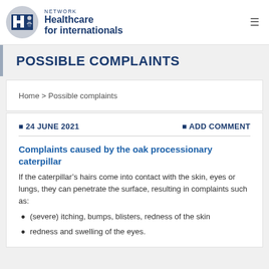NETWORK Healthcare for internationals
POSSIBLE COMPLAINTS
Home > Possible complaints
24 JUNE 2021   ADD COMMENT
Complaints caused by the oak processionary caterpillar
If the caterpillar's hairs come into contact with the skin, eyes or lungs, they can penetrate the surface, resulting in complaints such as:
(severe) itching, bumps, blisters, redness of the skin
redness and swelling of the eyes.